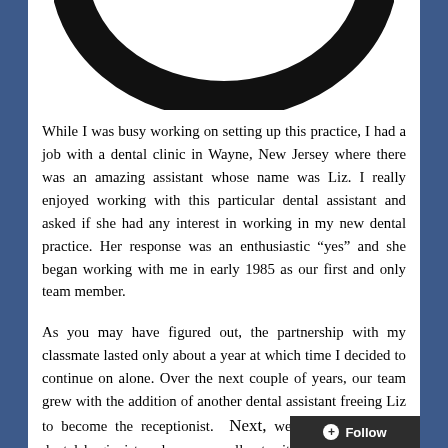[Figure (illustration): Partial bottom view of a black ring/circle shape on white background]
While I was busy working on setting up this practice, I had a job with a dental clinic in Wayne, New Jersey where there was an amazing assistant whose name was Liz. I really enjoyed working with this particular dental assistant and asked if she had any interest in working in my new dental practice. Her response was an enthusiastic “yes” and she began working with me in early 1985 as our first and only team member.
As you may have figured out, the partnership with my classmate lasted only about a year at which time I decided to continue on alone. Over the next couple of years, our team grew with the addition of another dental assistant freeing Liz to become the receptionist. Next, we hired a part-time dental hygienist and we were all set with a solid team and growing! Those first several years were the happiest of my life. I absolutely loved workin